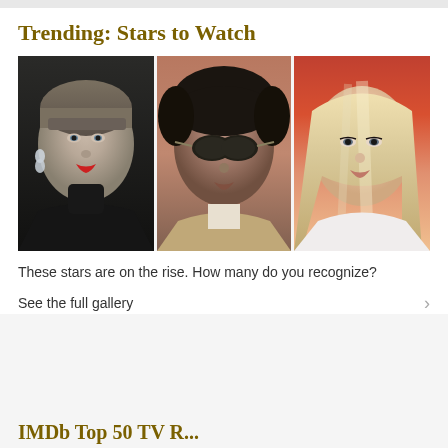Trending: Stars to Watch
[Figure (photo): Three celebrity headshots side by side: a young woman with short cropped hair, red lips and crystal earrings wearing black turtleneck; a man with dark curly hair and sunglasses; a young blonde woman with long straight hair.]
These stars are on the rise. How many do you recognize?
See the full gallery
IMDb Top 50 TV R...